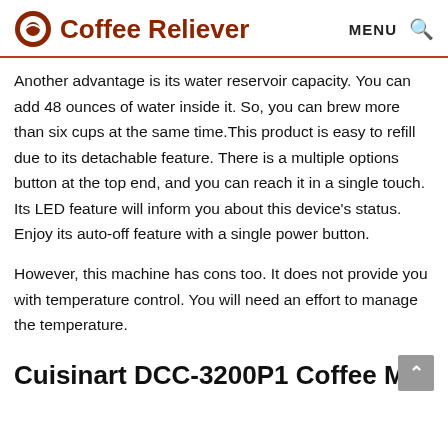Coffee Reliever | MENU
Another advantage is its water reservoir capacity. You can add 48 ounces of water inside it. So, you can brew more than six cups at the same time.This product is easy to refill due to its detachable feature. There is a multiple options button at the top end, and you can reach it in a single touch. Its LED feature will inform you about this device's status. Enjoy its auto-off feature with a single power button.
However, this machine has cons too. It does not provide you with temperature control. You will need an effort to manage the temperature.
Cuisinart DCC-3200P1 Coffee Mak